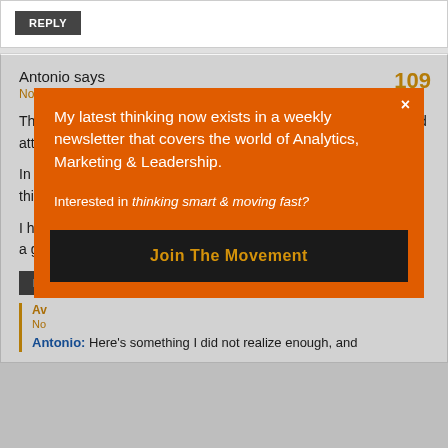REPLY
Antonio says
November 19, 2017 at 08:50
109
This magnificent article will soon be 6 years old and the advanced attribution has not advanced as far as we thought it could have.
In Spa... this ty...
I hope... a grea...
REPLY
Av...
No...
Antonio: Here's something I did not realize enough, and
[Figure (screenshot): Orange modal popup overlay with white text reading 'My latest thinking now exists in a weekly newsletter that covers the world of Analytics, Marketing & Leadership.' and italicized text 'Interested in thinking smart & moving fast?' with a black 'Join The Movement' button. An X close button appears in the top right corner.]